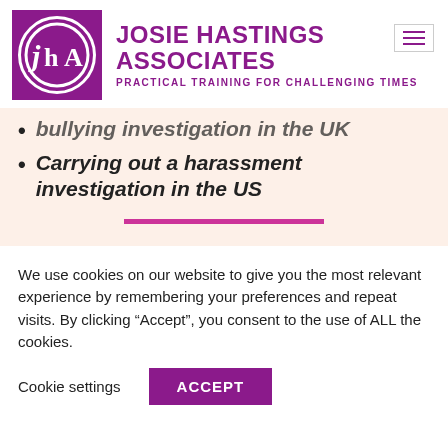[Figure (logo): Josie Hastings Associates logo: purple square with circular JhA monogram in white, company name in purple bold uppercase, tagline 'PRACTICAL TRAINING FOR CHALLENGING TIMES' in purple]
bullying investigation in the UK (partially visible, cropped at top)
Carrying out a harassment investigation in the US
We use cookies on our website to give you the most relevant experience by remembering your preferences and repeat visits. By clicking “Accept”, you consent to the use of ALL the cookies.
Cookie settings
ACCEPT